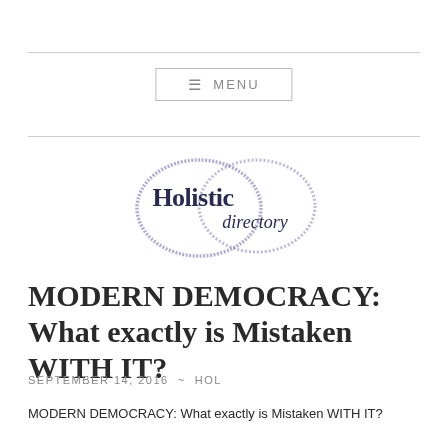[Figure (logo): Holistic Directory logo — two overlapping brush-stroke circles in muted purple with 'Holistic directory' text inside]
MODERN DEMOCRACY: What exactly is Mistaken WITH IT?
SEPTEMBER 14, 2016 ~ HOL
MODERN DEMOCRACY: What exactly is Mistaken WITH IT?